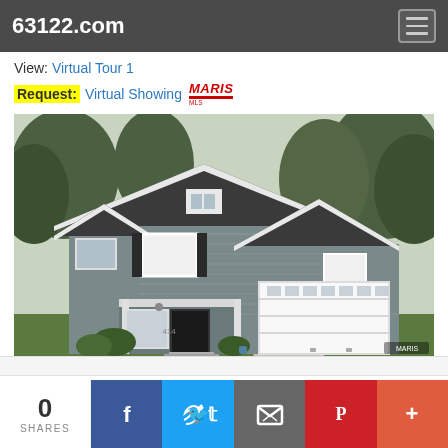63122.com
View: Virtual Tour 1
Request: Virtual Showing MARIS MLS
[Figure (photo): Exterior photo of a two-story gray craftsman-style house with attached two-car garage, covered front porch, black shutters, and white trim. Trees visible in background.]
0 SHARES
Share buttons: Facebook, Twitter, Email, Pinterest, More